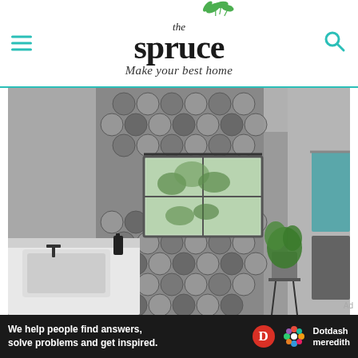the spruce — Make your best home
[Figure (photo): Modern bathroom interior with hexagonal grey tile wall pattern, a window with greenery outside, white vanity with sink, potted green plant on a stand, teal towels on a rack, and industrial-style fixtures. Black and white tones with teal accents.]
We help people find answers, solve problems and get inspired. Dotdash meredith